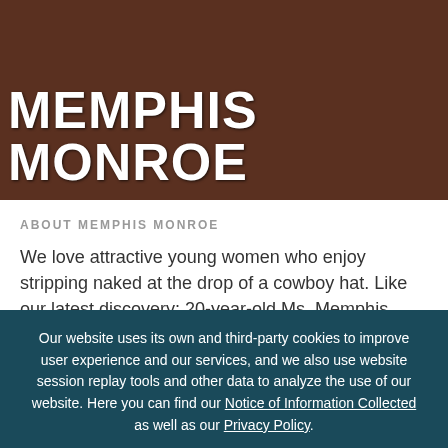MEMPHIS MONROE
ABOUT MEMPHIS MONROE
We love attractive young women who enjoy stripping naked at the drop of a cowboy hat. Like our latest discovery: 20-year-old Ms. Memphis Monroe, who just moved to Tinseltown from Louisville, Kentucky.
Our website uses its own and third-party cookies to improve user experience and our services, and we also use website session replay tools and other data to analyze the use of our website. Here you can find our Notice of Information Collected as well as our Privacy Policy.
I UNDERSTAND